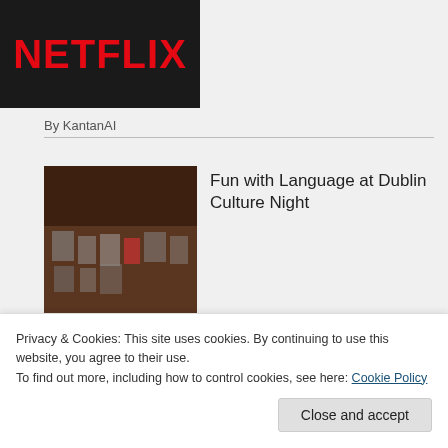[Figure (logo): Netflix logo on dark background, partially visible at top]
By KantanAI
Fun with Language at Dublin Culture Night
[Figure (photo): Dark interior photo showing framed items on a wall, exhibition-style]
By KantanAI
5 Questions with Brian Coyle
[Figure (photo): Partial photo of a person's face/head]
Privacy & Cookies: This site uses cookies. By continuing to use this website, you agree to their use.
To find out more, including how to control cookies, see here: Cookie Policy
Close and accept